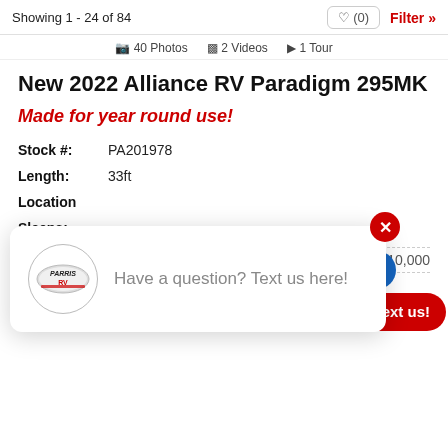Showing 1 - 24 of 84
40 Photos  2 Videos  1 Tour
New 2022 Alliance RV Paradigm 295MK
Made for year round use!
Stock #: PA201978
Length: 33ft
Location:
Sleeps:
MSRP: $110,000
SAVINGS:
SALE PRICE: $84,995
[Figure (other): Parris RV chat popup with logo and 'Have a question? Text us here!' message]